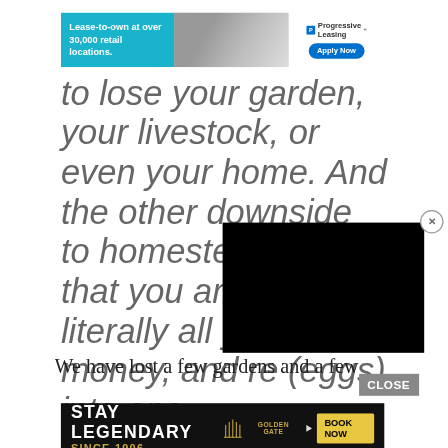[Figure (screenshot): Advertisement banner for Progressive Leasing: 'Lease-to-own at over 30,000 retail locations.' with an Apply Now button and Progressive Leasing logo. Background shows a person and laundry scene.]
to lose your garden, your livestock, or even your home. And the other downside to homesteading is that you are putting literally all you money, and re (eggs) into one
[Figure (screenshot): Black video overlay player covering part of the text, partially obscuring the right side of the page.]
We have lost a few gardens and a few
[Figure (screenshot): Advertisement banner: 'STAY LEGENDARY SINCE 1906' with Golden Gate logo and 'BOOK NOW' button on dark background.]